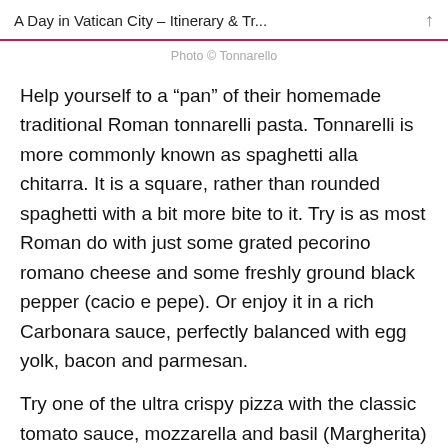A Day in Vatican City – Itinerary & Tr...
Photo © Tonnarello
Help yourself to a “pan” of their homemade traditional Roman tonnarelli pasta. Tonnarelli is more commonly known as spaghetti alla chitarra. It is a square, rather than rounded spaghetti with a bit more bite to it. Try is as most Roman do with just some grated pecorino romano cheese and some freshly ground black pepper (cacio e pepe). Or enjoy it in a rich Carbonara sauce, perfectly balanced with egg yolk, bacon and parmesan.
Try one of the ultra crispy pizza with the classic tomato sauce, mozzarella and basil (Margherita)